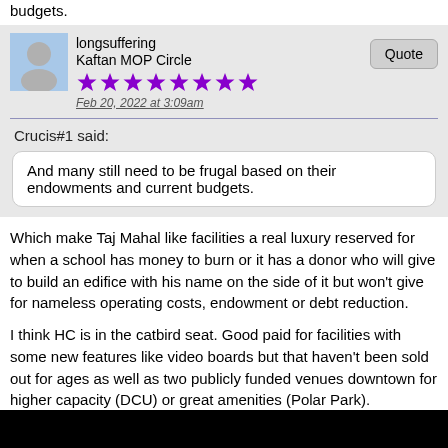budgets.
longsuffering
Kaftan MOP Circle
★★★★★★★★
Feb 20, 2022 at 3:09am
Crucis#1 said:
And many still need to be frugal based on their endowments and current budgets.
Which make Taj Mahal like facilities a real luxury reserved for when a school has money to burn or it has a donor who will give to build an edifice with his name on the side of it but won't give for nameless operating costs, endowment or debt reduction.
I think HC is in the catbird seat. Good paid for facilities with some new features like video boards but that haven't been sold out for ages as well as two publicly funded venues downtown for higher capacity (DCU) or great amenities (Polar Park).